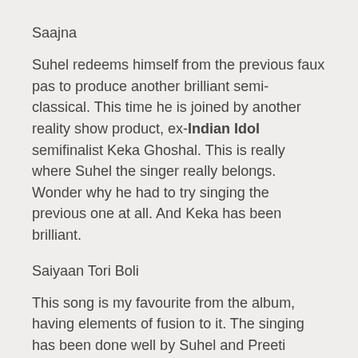Saajna
Suhel redeems himself from the previous faux pas to produce another brilliant semi-classical. This time he is joined by another reality show product, ex-Indian Idol semifinalist Keka Ghoshal. This is really where Suhel the singer really belongs. Wonder why he had to try singing the previous one at all. And Keka has been brilliant.
Saiyaan Tori Boli
This song is my favourite from the album, having elements of fusion to it. The singing has been done well by Suhel and Preeti Uttam, the daughter of Uttam Singh. Uttam Singh, in case you remember, was the composer who hit the headlines in 1997 for his brilliant compositions in Dil To Pagal Hai, but unfortunately couldn't live up to those standards subsequently,